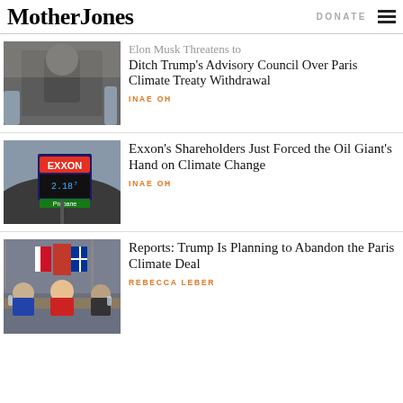Mother Jones | DONATE
[Figure (photo): Photo of Elon Musk in a suit, seated, talking]
Elon Musk Threatens to Ditch Trump's Advisory Council Over Paris Climate Treaty Withdrawal
INAE OH
[Figure (photo): Exxon gas station sign showing prices]
Exxon's Shareholders Just Forced the Oil Giant's Hand on Climate Change
INAE OH
[Figure (photo): World leaders seated at a conference table including Angela Merkel and Donald Trump]
Reports: Trump Is Planning to Abandon the Paris Climate Deal
REBECCA LEBER